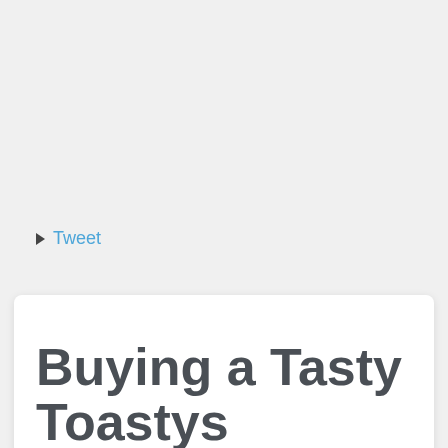▶ Tweet
Buying a Tasty Toastys NFT